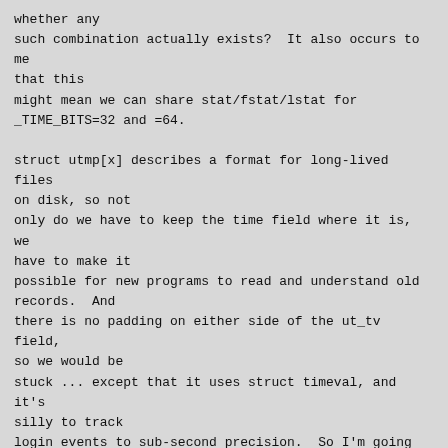whether any
such combination actually exists?  It also occurs to me that this
might mean we can share stat/fstat/lstat for
_TIME_BITS=32 and =64.

struct utmp[x] describes a format for long-lived files on disk, so not
only do we have to keep the time field where it is, we have to make it
possible for new programs to read and understand old records.  And
there is no padding on either side of the ut_tv field, so we would be
stuck ... except that it uses struct timeval, and it's silly to track
login events to sub-second precision.  So I'm going to suggest that we
redefine that field as a bare time64_t:
#define UT_LINESIZE      32
#define UT_NAMESIZE      32
#define UT_HOSTSIZE      256
struct utmp{,x}
{
  uint16_t ut_type;
  uint16_t __reserved1;
  uint32_t ut_pid;
  char ut_line[UT_LINESIZE];